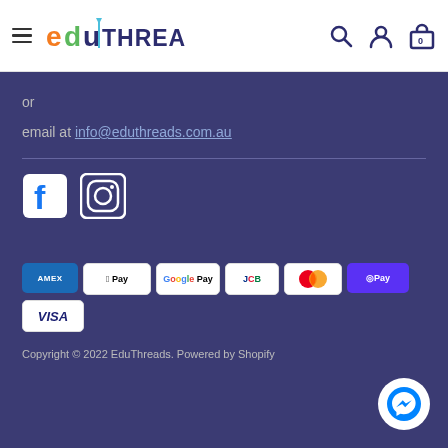eduTHREADS header with navigation icons
or
email at info@eduthreads.com.au
[Figure (logo): Facebook and Instagram social media icons]
[Figure (other): Payment method logos: AMEX, Apple Pay, Google Pay, JCB, Mastercard, Shop Pay, Visa]
Copyright © 2022 EduThreads. Powered by Shopify